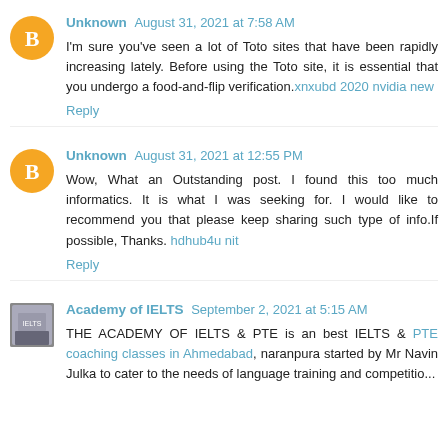Unknown August 31, 2021 at 7:58 AM
I'm sure you've seen a lot of Toto sites that have been rapidly increasing lately. Before using the Toto site, it is essential that you undergo a food-and-flip verification. xnxubd 2020 nvidia new
Reply
Unknown August 31, 2021 at 12:55 PM
Wow, What an Outstanding post. I found this too much informatics. It is what I was seeking for. I would like to recommend you that please keep sharing such type of info.If possible, Thanks. hdhub4u nit
Reply
Academy of IELTS September 2, 2021 at 5:15 AM
THE ACADEMY OF IELTS & PTE is an best IELTS & PTE coaching classes in Ahmedabad, naranpura started by Mr Navin Julka to cater to the needs of language training and competitio...